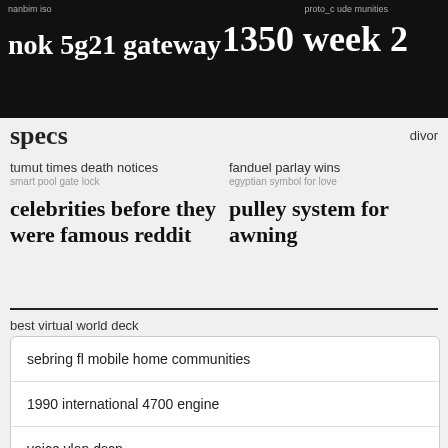nanbim iso
proto_c ude munities 1350 week 2
nok 5g21 gateway specs
divor
tumut times death notices
smart pool gate lock
fanduel parlay wins
egyptian symbol for love
celebrities before they were famous reddit
pulley system for awning
best virtual world deck
sebring fl mobile home communities
1990 international 4700 engine
voice vlan dscp